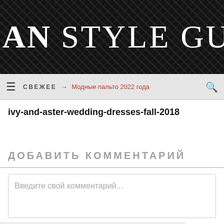MILAN STYLE GUIDE
СВЕЖЕЕ → Модные пальто 2022 года
ivy-and-aster-wedding-dresses-fall-2018
ДОБАВИТЬ КОММЕНТАРИЙ
Введите свой комментарий...
We use cookies on our website to give you the most relevant experience by